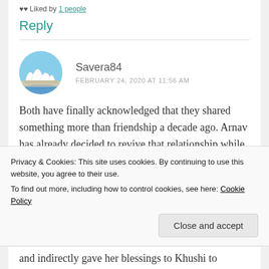♥♥ Liked by 1 people
Reply
Savera84
FEBRUARY 24, 2020 AT 11:56 AM
[Figure (photo): Round avatar image of Sydney Opera House]
Both have finally acknowledged that they shared something more than friendship a decade ago. Arnav has already decided to revive that relationship while Khushi is
Privacy & Cookies: This site uses cookies. By continuing to use this website, you agree to their use.
To find out more, including how to control cookies, see here: Cookie Policy
Close and accept
and indirectly gave her blessings to Khushi to